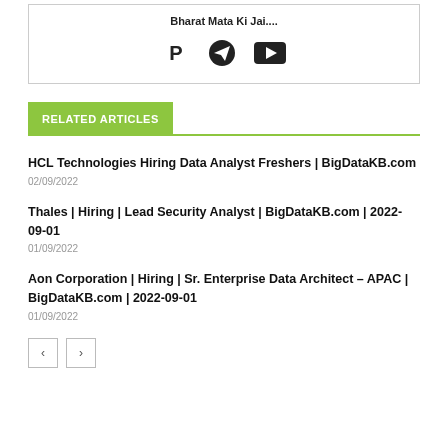Bharat Mata Ki Jai....
[Figure (illustration): Three social media icons: PayPal, Telegram, and YouTube]
RELATED ARTICLES
HCL Technologies Hiring Data Analyst Freshers | BigDataKB.com
02/09/2022
Thales | Hiring | Lead Security Analyst | BigDataKB.com | 2022-09-01
01/09/2022
Aon Corporation | Hiring | Sr. Enterprise Data Architect – APAC | BigDataKB.com | 2022-09-01
01/09/2022